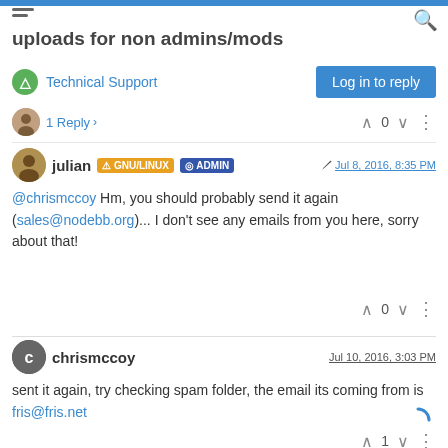uploads for non admins/mods
Technical Support
Log in to reply
1 Reply
julian GNU/LINUX ADMIN   Jul 8, 2016, 8:35 PM
@chrismccoy Hm, you should probably send it again (sales@nodebb.org)... I don't see any emails from you here, sorry about that!
chrismccoy   Jul 10, 2016, 3:03 PM
sent it again, try checking spam folder, the email its coming from is fris@fris.net